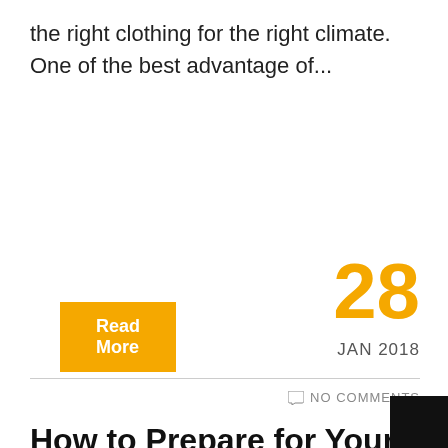the right clothing for the right climate. One of the best advantage of...
Read More
28
JAN 2018
NO COMMENTS
How to Prepare for Your Kayak Race
Tips, Travel